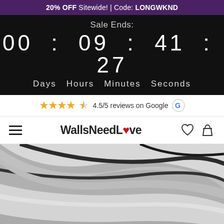20% OFF Sitewide! | Code: LONGWKND
Sale Ends: 00 : 09 : 41 : 27 Days Hours Minutes Seconds
★★★★½ 4.5/5 reviews on Google G
WallsNeedLove
[Figure (photo): Black and white close-up photo of smooth abstract curved surfaces resembling sand dunes or leaf textures, with diagonal dark lines running across the image. A small white bird-like shape is visible at the bottom.]